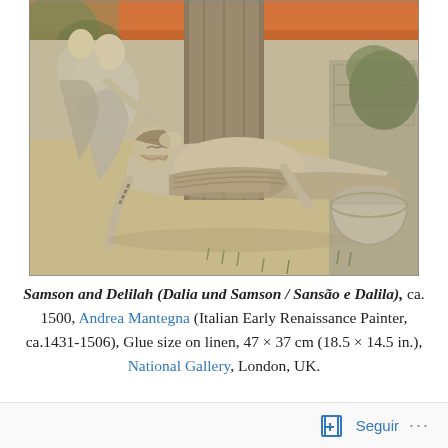[Figure (illustration): A detail of Andrea Mantegna's painting 'Samson and Delilah', c.1500. Shows a man (Samson) lying on the ground with head tilted back, a woman (Delilah) tending to him, set against a tree trunk, foliage, and stone architecture. Rendered in grisaille/earth tones.]
Samson and Delilah (Dalia und Samson / Sansão e Dalila), ca. 1500, Andrea Mantegna (Italian Early Renaissance Painter, ca.1431-1506), Glue size on linen, 47 × 37 cm (18.5 × 14.5 in.), National Gallery, London, UK.
Seguir ···